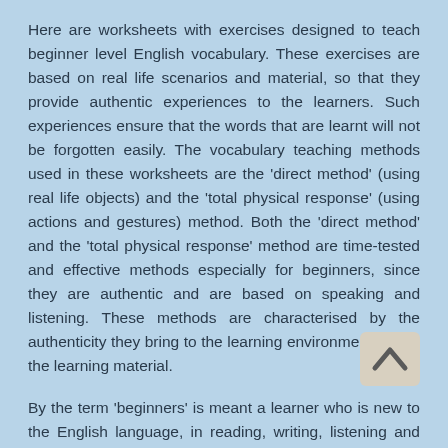Here are worksheets with exercises designed to teach beginner level English vocabulary. These exercises are based on real life scenarios and material, so that they provide authentic experiences to the learners. Such experiences ensure that the words that are learnt will not be forgotten easily. The vocabulary teaching methods used in these worksheets are the 'direct method' (using real life objects) and the 'total physical response' (using actions and gestures) method. Both the 'direct method' and the 'total physical response' method are time-tested and effective methods especially for beginners, since they are authentic and are based on speaking and listening. These methods are characterised by the authenticity they bring to the learning environment and to the learning material.
[Figure (illustration): A scroll-up / back-to-top arrow icon in a beige rounded rectangle]
By the term 'beginners' is meant a learner who is new to the English language, in reading, writing, listening and speaking. 'Beginners' do not refer to any particular age. A